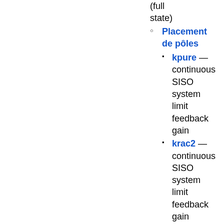(full state)
Placement de pôles
kpure — continuous SISO system limit feedback gain
krac2 — continuous SISO system limit feedback gain
ppol — pole placement
stabil — stabilization
Tracking
gfrancis — Francis